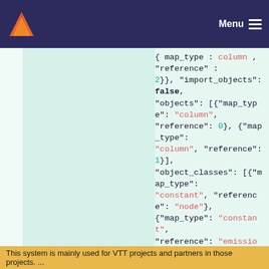Menu
{ map_type : column , reference : 2}}, "import_objects": false, "objects": [{"map_type": "column", "reference": 0}, {"map_type": "column", "reference": 1}], "object_classes": [{"map_type": "constant", "reference": "node"}, {"map_type": "constant", "reference": "emission"}], "mapping_name": "Mapping 1"}], "ts_cf": [{"map_type": "RelationshipClass", "skip_columns": [0, 1, 2, 3, 4], "read_start_row": 0, "name": {"map_type": "constant", "reference": "ts_flow__node__f"}, "parameters": {"map_type": "parameter", "name": {"map_type": "constant", "reference": "ts_cf"}, "parameter_type": "map", "value": {"map_type": "column", "reference":
This system is mainly used for VTT projects and partners in those projects. ...